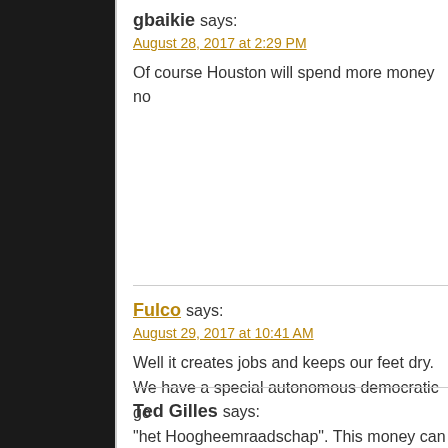gbaikie says:
August 28, 2017 at 2:29 PM
Of course Houston will spend more money no
Fulco says:
August 29, 2017 at 10:41 AM
Well it creates jobs and keeps our feet dry. We have a special autonomous democratic go "het Hoogheemraadschap". This money can management.
Ted Gilles says: